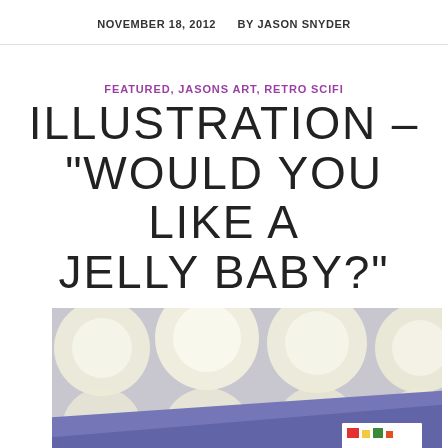NOVEMBER 18, 2012    BY JASON SNYDER
FEATURED, JASONS ART, RETRO SCIFI
ILLUSTRATION – “WOULD YOU LIKE A JELLY BABY?”
[Figure (photo): Close-up photo showing a polka-dot patterned background with large white/cream circles on gray, and a blue book or card in the foreground with a small colorful illustration visible at bottom right]